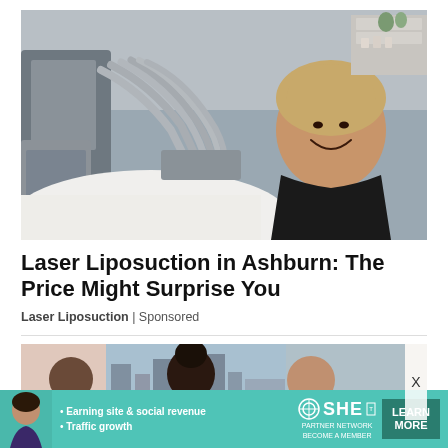[Figure (photo): Woman lying on a medical treatment bed smiling, with multiple hoses from a laser liposuction machine attached. Medical spa setting with equipment visible on the left.]
Laser Liposuction in Ashburn: The Price Might Surprise You
Laser Liposuction | Sponsored
[Figure (photo): Partial image of a group of women in a medical or beauty spa setting, cropped advertisement.]
[Figure (infographic): SHE Partner Network ad banner with avatar photo, bullet points: Earning site & social revenue, Traffic growth, SHE logo, LEARN MORE button.]